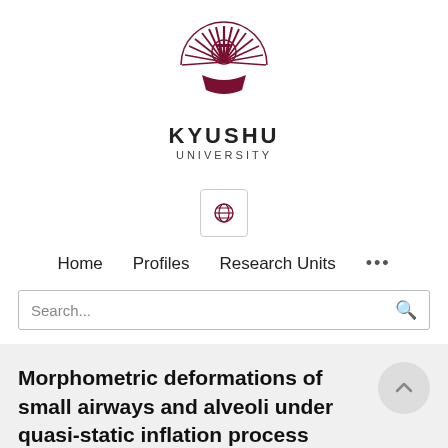[Figure (logo): Kyushu University logo — a stylized sunburst with radiating lines and a central emblem in dark red/maroon]
KYUSHU
UNIVERSITY
[Figure (other): Globe/language selector icon inside a small rounded rectangle button]
Home   Profiles   Research Units   ...
Search...
Morphometric deformations of small airways and alveoli under quasi-static inflation process